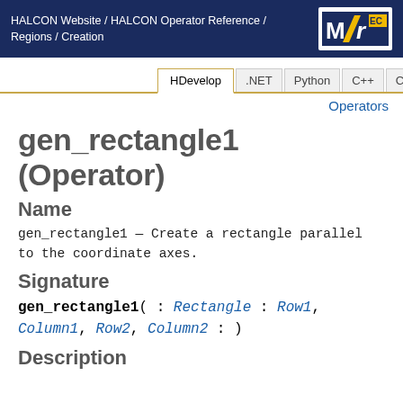HALCON Website / HALCON Operator Reference / Regions / Creation
Operators
gen_rectangle1 (Operator)
Name
gen_rectangle1 — Create a rectangle parallel to the coordinate axes.
Signature
gen_rectangle1( : Rectangle : Row1, Column1, Row2, Column2 : )
Description